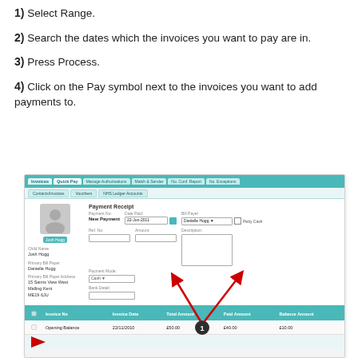1) Select Range.
2) Search the dates which the invoices you want to pay are in.
3) Press Process.
4) Click on the Pay symbol next to the invoices you want to add payments to.
[Figure (screenshot): Screenshot of a payment receipt interface showing Quick Pay tab, payment details form with fields for Payment No, Date Paid (22-Jun-2011), Bill Payer (Danielle Hogg), Ref No, Amount, Payment Mode (Cash), Bank Detail, and an invoice table showing Opening Balance dated 22/11/2010 with Total Amount £50.00, Paid Amount £40.00, Balance Amount £10.00. Two red arrows point to the Amount field and another field, with a circled number 1 annotation.]